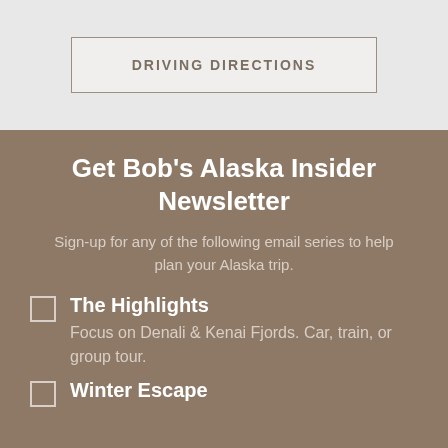DRIVING DIRECTIONS
Get Bob's Alaska Insider Newsletter
Sign-up for any of the following email series to help plan your Alaska trip.
The Highlights
Focus on Denali & Kenai Fjords. Car, train, or group tour.
Winter Escape